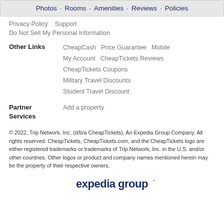Photos · Rooms · Amenities · Reviews · Policies
Privacy Policy   Support
Do Not Sell My Personal Information
Other Links
CheapCash   Price Guarantee   Mobile
My Account   CheapTickets Reviews
CheapTickets Coupons
Military Travel Discounts
Student Travel Discount
Partner Services
Add a property
© 2022, Trip Network, Inc, (d/b/a CheapTickets), An Expedia Group Company. All rights reserved. CheapTickets, CheapTickets.com, and the CheapTickets logo are either registered trademarks or trademarks of Trip Network, Inc. in the U.S. and/or other countries. Other logos or product and company names mentioned herein may be the property of their respective owners.
[Figure (logo): expedia group logo in dark navy blue text]